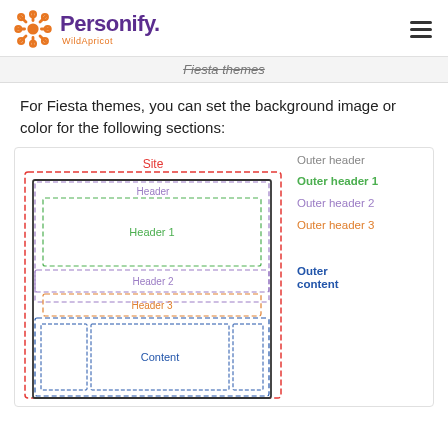Personify WildApricot
Fiesta themes
For Fiesta themes, you can set the background image or color for the following sections:
[Figure (schematic): Diagram showing nested layout sections for Fiesta themes: Site (outermost, red dashed), Header (purple dashed), Header 1 (green dashed), Header 2 (purple dashed), Header 3 (orange dashed), Content (blue dashed). Legend on right: Outer header, Outer header 1, Outer header 2, Outer header 3, Outer content.]